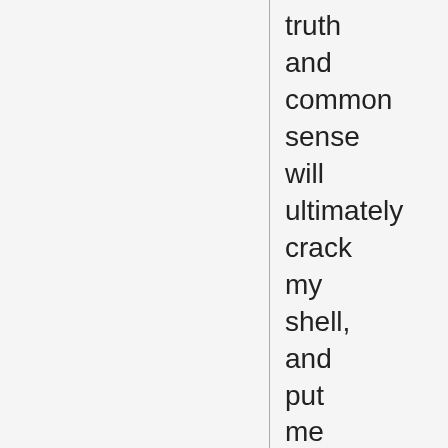truth and common sense will ultimately crack my shell, and put me hors de combat.